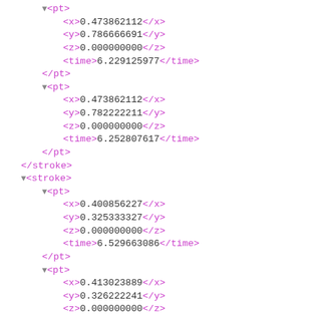XML code snippet showing stroke/pt elements with x, y, z, time values